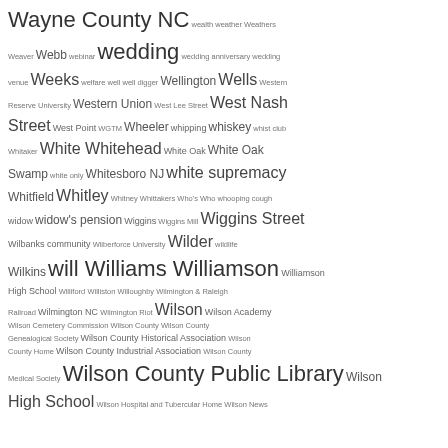[Figure (infographic): Tag cloud listing genealogy/history index terms starting with W, sized by frequency. Terms include Wayne County NC, wealth, weather, Weathers, Weaver, Webb, webinar, wedding, wedding anniversary, wedding venue, Weeks, welfare, well, well digger, Wellington, Wells, Western Reserve University, Western Union, West Lee Street, West Nash Street, West Point, WGTM, Wheeler, whipping, whiskey, whist club, Whitaker, White, Whitehead, White Oak, White Oak Swamp, white only, Whitesboro NJ, white supremacy, Whitfield, Whitley, Whitney, Whittakers, Who's Who, whooping cough, widow, widow's pension, Wiggins, Wiggins Mill, Wiggins Street, Wilbanks community, Wilberforce University, Wilder, wildlife, Wilkins, will, Williams, Williamson, Williamson High School, Williford, Williston, Willoughby, Wilmington & Raleigh Railroad, Wilmington NC, Wilmington Riot, Wilson, Wilson Academy, Wilson Cemetery Commission, Wilson County, Wilson County Genealogical Society, Wilson County Historical Association, Wilson County Home, Wilson County Industrial Association, Wilson County Medical Society, Wilson County Public Library, Wilson High School, Wilson Hospital and Tubercular Home, Wilson News]